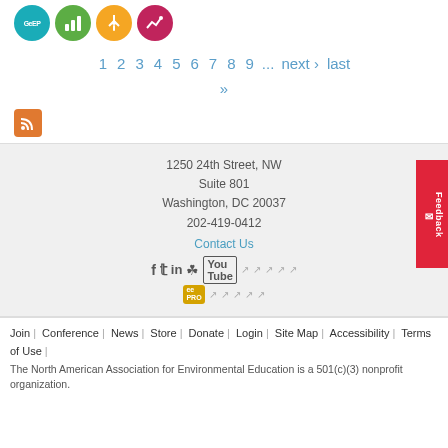[Figure (illustration): Four circular icon badges: teal 'GeEP', green bar chart, orange wind turbine, pink/magenta chart icon]
1 2 3 4 5 6 7 8 9 ... next › last »
[Figure (illustration): RSS feed orange square icon]
1250 24th Street, NW
Suite 801
Washington, DC 20037
202-419-0412
Contact Us
[Figure (illustration): Social media icons: Facebook, Twitter, LinkedIn, Instagram, YouTube, with share link icons; EE PRO badge]
Join | Conference | News | Store | Donate | Login | Site Map | Accessibility | Terms of Use | The North American Association for Environmental Education is a 501(c)(3) nonprofit organization.